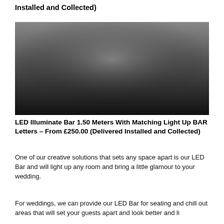Installed and Collected)
[Figure (photo): A dark gradient image, transitioning from medium grey at the top to near black at the bottom, appearing to be a photo of an LED bar or event lighting product in a dark environment.]
LED Illuminate Bar 1.50 Meters With Matching Light Up BAR Letters – From £250.00 (Delivered Installed and Collected)
One of our creative solutions that sets any space apart is our LED Bar and will light up any room and bring a little glamour to your wedding.
For weddings, we can provide our LED Bar for seating and chill out areas that will set your guests apart and look better and li...